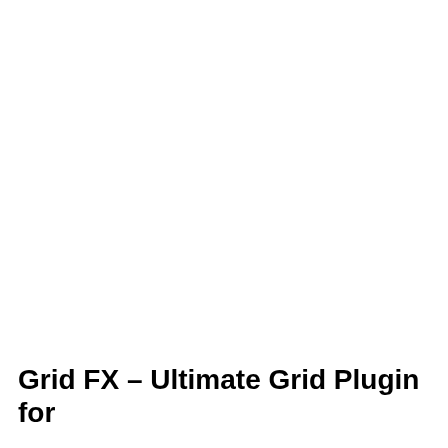Grid FX – Ultimate Grid Plugin for